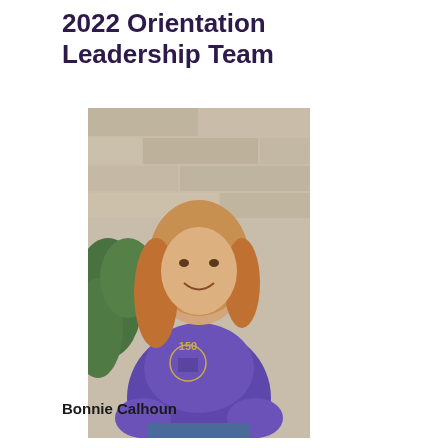2022 Orientation Leadership Team
[Figure (photo): Portrait photo of a woman with long blonde hair wearing a purple university t-shirt with '150' graphic, standing outdoors in front of a stone wall with greenery]
Bonnie Calhoun